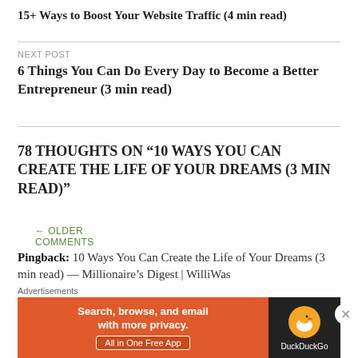15+ Ways to Boost Your Website Traffic (4 min read)
NEXT POST
6 Things You Can Do Every Day to Become a Better Entrepreneur (3 min read)
78 THOUGHTS ON “10 WAYS YOU CAN CREATE THE LIFE OF YOUR DREAMS (3 MIN READ)”
← OLDER COMMENTS
Pingback: 10 Ways You Can Create the Life of Your Dreams (3 min read) — Millionaire’s Digest | WilliWas
[Figure (screenshot): DuckDuckGo advertisement banner: orange background with text 'Search, browse, and email with more privacy. All in One Free App' and DuckDuckGo logo on dark right panel]